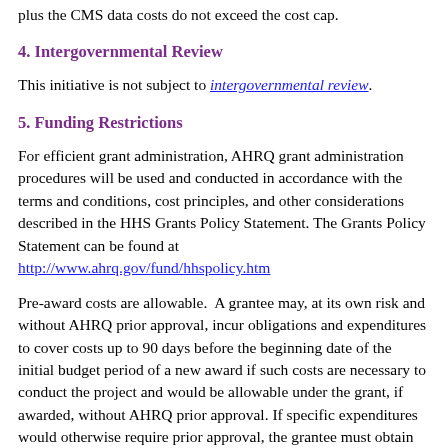plus the CMS data costs do not exceed the cost cap.
4. Intergovernmental Review
This initiative is not subject to intergovernmental review.
5. Funding Restrictions
For efficient grant administration, AHRQ grant administration procedures will be used and conducted in accordance with the terms and conditions, cost principles, and other considerations described in the HHS Grants Policy Statement. The Grants Policy Statement can be found at http://www.ahrq.gov/fund/hhspolicy.htm
Pre-award costs are allowable. A grantee may, at its own risk and without AHRQ prior approval, incur obligations and expenditures to cover costs up to 90 days before the beginning date of the initial budget period of a new award if such costs are necessary to conduct the project and would be allowable under the grant, if awarded, without AHRQ prior approval. If specific expenditures would otherwise require prior approval, the grantee must obtain AHRQ approval before incurring the cost. AHRQ prior approval is required for any costs to be incurred more than 90 days before the beginning date of the initial budget period of a new award.